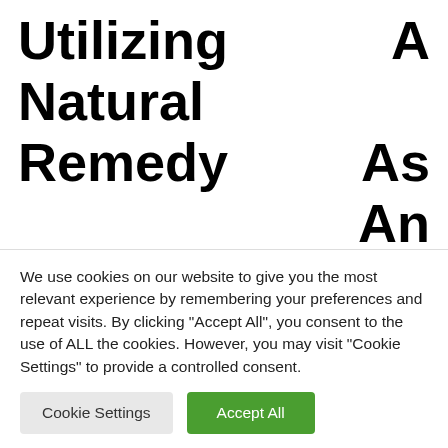Utilizing A Natural Remedy As An Option To Prescription Medication – Natural Remedy For Nausea
Just before you commence utilizing this sort of natural treatment, you need to initial know what it is. This article
We use cookies on our website to give you the most relevant experience by remembering your preferences and repeat visits. By clicking "Accept All", you consent to the use of ALL the cookies. However, you may visit "Cookie Settings" to provide a controlled consent.